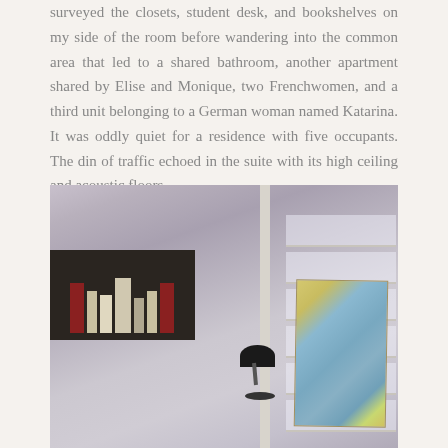surveyed the closets, student desk, and bookshelves on my side of the room before wandering into the common area that led to a shared bathroom, another apartment shared by Elise and Monique, two Frenchwomen, and a third unit belonging to a German woman named Katarina. It was oddly quiet for a residence with five occupants. The din of traffic echoed in the suite with its high ceiling and acoustic floors.
[Figure (photo): Interior photograph of a student dormitory room showing a white wall with a map of Europe pinned to it, a tall French window open on the right side letting in bright light with shelves visible in the window recess, a dark wall-mounted bookshelf with books in the lower left, and a desk lamp on a desk in the lower center of the frame. The photo has a slightly muted, vintage color quality.]